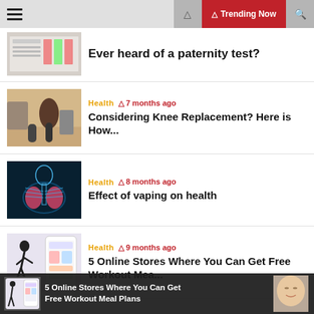Trending Now
Ever heard of a paternity test?
Health · 7 months ago
Considering Knee Replacement? Here is How...
Health · 8 months ago
Effect of vaping on health
Health · 9 months ago
5 Online Stores Where You Can Get Free Workout Mea...
5 Online Stores Where You Can Get Free Workout Meal Plans